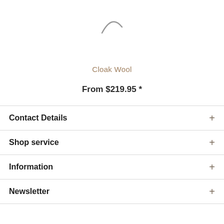[Figure (photo): Loading spinner arc at top of page, partially visible]
Cloak Wool
From $219.95 *
Contact Details
Shop service
Information
Newsletter